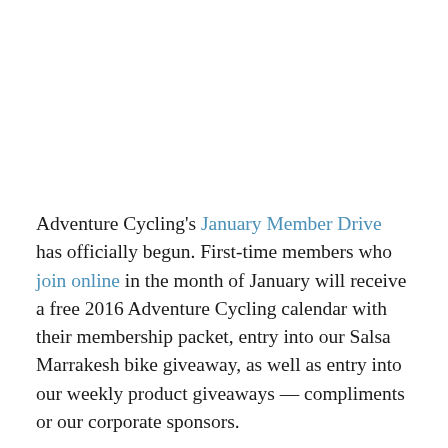Adventure Cycling's January Member Drive has officially begun. First-time members who join online in the month of January will receive a free 2016 Adventure Cycling calendar with their membership packet, entry into our Salsa Marrakesh bike giveaway, as well as entry into our weekly product giveaways — compliments or our corporate sponsors.
When you join Adventure Cycling, you're not just joining a group of more than 48,000 cyclists, you're also helping support our work to create and [continues below]